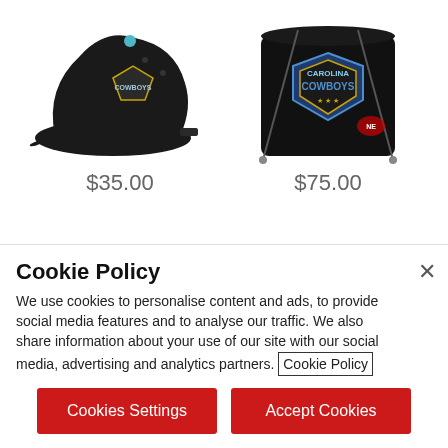[Figure (photo): Black Carolina Cowboys baseball cap with logo, product photo]
[Figure (photo): Black Carolina Cowboys drawstring bag with logo, product photo]
$35.00
$75.00
Cookie Policy
We use cookies to personalise content and ads, to provide social media features and to analyse our traffic. We also share information about your use of our site with our social media, advertising and analytics partners. Cookie Policy
Cookies Settings
Accept Cookies